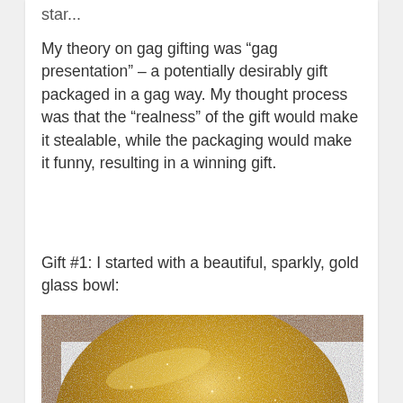star...
My theory on gag gifting was “gag presentation” – a potentially desirably gift packaged in a gag way. My thought process was that the “realness” of the gift would make it stealable, while the packaging would make it funny, resulting in a winning gift.
Gift #1: I started with a beautiful, sparkly, gold glass bowl:
[Figure (photo): Close-up photo of a sparkly gold glass bowl viewed from above, showing the curved rim and the reflective golden interior with glitter-like texture, placed on a wooden surface.]